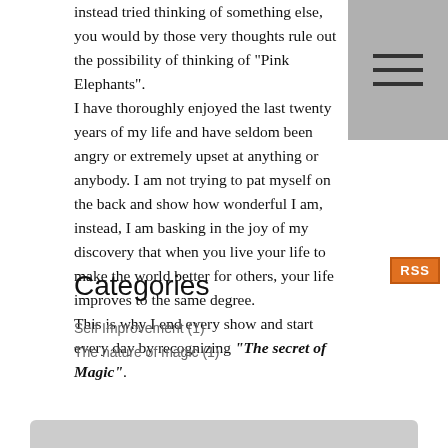instead tried thinking of something else, you would by those very thoughts rule out the possibility of thinking of "Pink Elephants".
I have thoroughly enjoyed the last twenty years of my life and have seldom been angry or extremely upset at anything or anybody. I am not trying to pat myself on the back and show how wonderful I am, instead, I am basking in the joy of my discovery that when you live your life to make the world better for others, your life improves to the same degree.
This is why I end every show and start every day by recognizing "The secret of Magic".
[Figure (other): Navigation menu icon (hamburger menu) shown as three horizontal lines on a grey background in the top-right corner]
[Figure (other): RSS feed orange badge/button in the right margin]
Categories
Self Improvement (1)
The nature of magic (1)